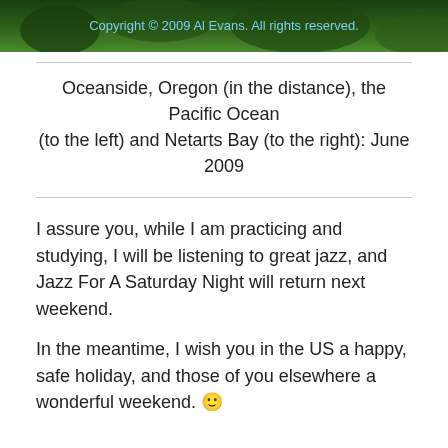[Figure (photo): Photo strip at top showing scenic outdoor view with trees/foliage, dark green tones. Contains copyright watermark text: 'Copyright © 2009 Al Evans. All rights reserved.']
Oceanside, Oregon (in the distance), the Pacific Ocean (to the left) and Netarts Bay (to the right): June 2009
I assure you, while I am practicing and studying, I will be listening to great jazz, and Jazz For A Saturday Night will return next weekend.
In the meantime, I wish you in the US a happy, safe holiday, and those of you elsewhere a wonderful weekend. 🙂
Al
UPDATE 08-31-2012 2:00 PM: Just to clarify things, the two photos above were taken with my Kodak Z710, not the